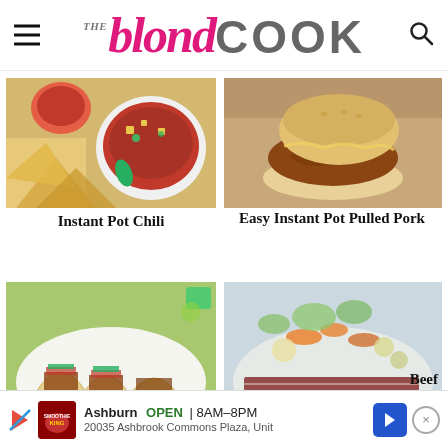THE blond COOK
[Figure (photo): Bowl of Instant Pot Chili with tortilla chips]
Instant Pot Chili
[Figure (photo): Easy Instant Pot Pulled Pork sandwich on a board]
Easy Instant Pot Pulled Pork
[Figure (photo): Tacos on a white plate with lime and toppings]
[Figure (photo): Corned beef and vegetables on a platter]
Beef
[Figure (other): Advertisement: Smoothie King Ashburn OPEN 8AM-8PM 20035 Ashbrook Commons Plaza, Unit]